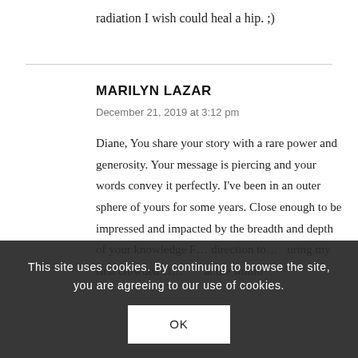radiation I wish could heal a hip. ;)
MARILYN LAZAR
December 21, 2019 at 3:12 pm
Diane, You share your story with a rare power and generosity. Your message is piercing and your words convey it perfectly. I've been in an outer sphere of yours for some years. Close enough to be impressed and impacted by the breadth and depth of your knowledge F... direction to... ...uring my first crowded cl... ...at the studio
This site uses cookies. By continuing to browse the site, you are agreeing to our use of cookies.